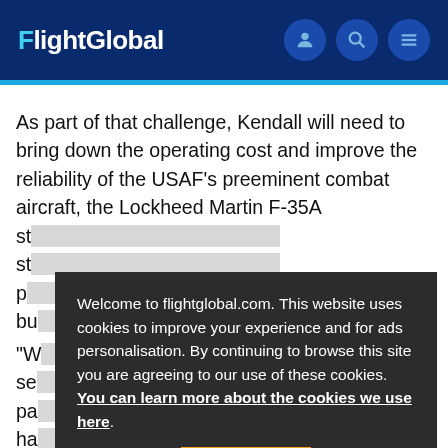FlightGlobal
As part of that challenge, Kendall will need to bring down the operating cost and improve the reliability of the USAF's preeminent combat aircraft, the Lockheed Martin F-35A st... demand a sense of urgency and a like focus on getting our
Welcome to flightglobal.com. This website uses cookies to improve your experience and for ads personalisation. By continuing to browse this site you are agreeing to our use of these cookies. You can learn more about the cookies we use here.
OK